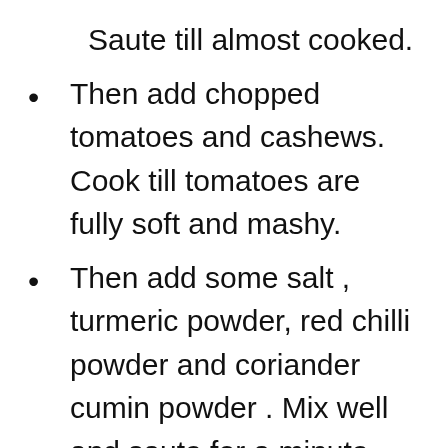Saute till almost cooked.
Then add chopped tomatoes and cashews. Cook till tomatoes are fully soft and mashy.
Then add some salt , turmeric powder, red chilli powder and coriander cumin powder . Mix well and saute for a minute more.
Then switch off the gas and